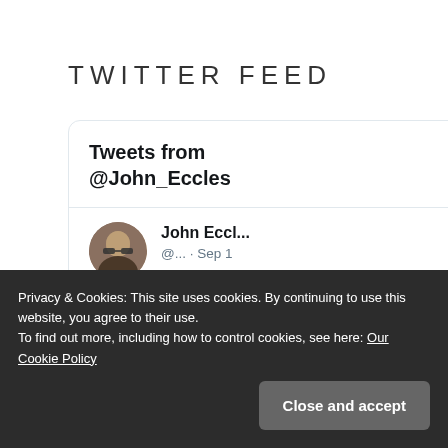TWITTER FEED
[Figure (screenshot): Twitter feed widget showing tweets from @John_Eccles. Contains a tweet from John Eccl... (@...) dated Sep 1, with text: RIP Bill Turnbull you were a huge part of my breakfast. Profile photo shows a man with glasses.]
Privacy & Cookies: This site uses cookies. By continuing to use this website, you agree to their use.
To find out more, including how to control cookies, see here: Our Cookie Policy
Close and accept